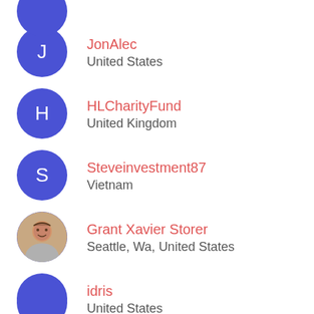JonAlec
United States
HLCharityFund
United Kingdom
Steveinvestment87
Vietnam
Grant Xavier Storer
Seattle, Wa, United States
idris
United States